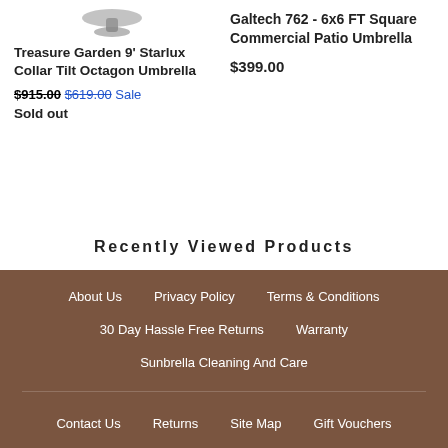[Figure (photo): Umbrella product image (grey, top of page, partially cropped)]
Treasure Garden 9' Starlux Collar Tilt Octagon Umbrella
$915.00 $619.00 Sale
Sold out
Galtech 762 - 6x6 FT Square Commercial Patio Umbrella
$399.00
Recently Viewed Products
About Us   Privacy Policy   Terms & Conditions
30 Day Hassle Free Returns   Warranty
Sunbrella Cleaning And Care
Contact Us   Returns   Site Map   Gift Vouchers